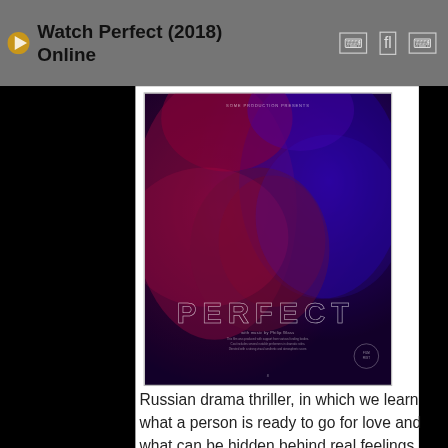Watch Perfect (2018) Online
[Figure (photo): Movie poster for 'Perfect' (2018). A dark atmospheric image of a person's face illuminated by red and blue neon lighting. The title 'PERFECT' is displayed in large outlined letters at the bottom of the poster.]
Russian drama thriller, in which we learn what a person is ready to go for love and what can be hidden behind real feelings. In the center of